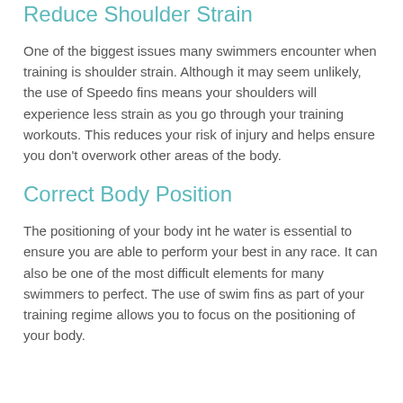Reduce Shoulder Strain
One of the biggest issues many swimmers encounter when training is shoulder strain. Although it may seem unlikely, the use of Speedo fins means your shoulders will experience less strain as you go through your training workouts. This reduces your risk of injury and helps ensure you don’t overwork other areas of the body.
Correct Body Position
The positioning of your body int he water is essential to ensure you are able to perform your best in any race. It can also be one of the most difficult elements for many swimmers to perfect. The use of swim fins as part of your training regime allows you to focus on the positioning of your body.